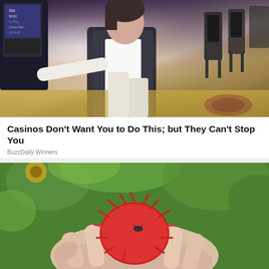[Figure (photo): Woman in white shirt and black blazer sitting in a casino environment with slot machines and patterned carpet visible in the background]
Casinos Don't Want You to Do This; but They Can't Stop You
BuzzDaily Winners
[Figure (photo): Close-up of a hand holding a red spiky exotic fruit (rambutan or lychee) with green foliage in the background]